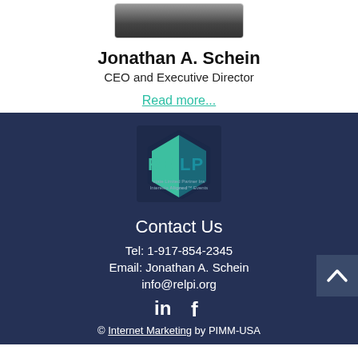[Figure (photo): Partial photo of Jonathan A. Schein, partially cropped at top of page]
Jonathan A. Schein
CEO and Executive Director
Read more...
[Figure (logo): RELP logo - Real Estate Limited Partner Institute, Interests Aligned Events]
Contact Us
Tel: 1-917-854-2345
Email: Jonathan A. Schein
info@relpi.org
[Figure (other): LinkedIn and Facebook social media icons]
© Internet Marketing by PIMM-USA